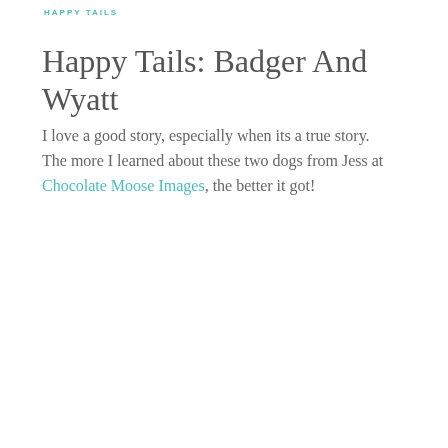HAPPY TAILS
Happy Tails: Badger And Wyatt
I love a good story, especially when its a true story. The more I learned about these two dogs from Jess at Chocolate Moose Images, the better it got!